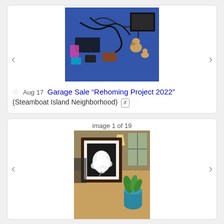[Figure (photo): Garage sale items on a blue table including cables, electronics, ceramic dog figurines, and miscellaneous objects]
☆  Aug 17  Garage Sale "Rehoming Project 2022"  (Steamboat Island Neighborhood) [x]
image 1 of 19
[Figure (photo): Framed black and white flower photograph on a wood floor next to a blue potted plant]